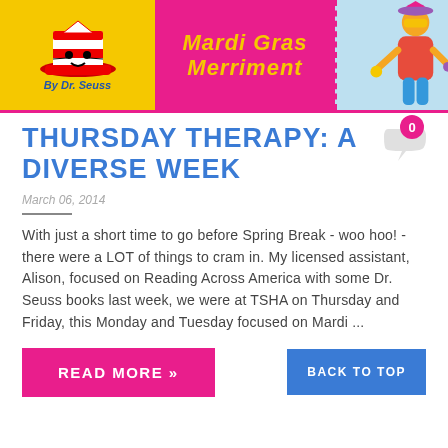[Figure (illustration): Blog header banner with three sections: left yellow section with Dr. Seuss hat illustration and 'By Dr. Seuss' text; center pink section with 'Mardi Gras Merriment' text in yellow italic font; right light blue section with a Mardi Gras costumed figure illustration.]
THURSDAY THERAPY: A DIVERSE WEEK
March 06, 2014
With just a short time to go before Spring Break - woo hoo! - there were a LOT of things to cram in. My licensed assistant, Alison, focused on Reading Across America with some Dr. Seuss books last week, we were at TSHA on Thursday and Friday, this Monday and Tuesday focused on Mardi ...
READ MORE »
BACK TO TOP